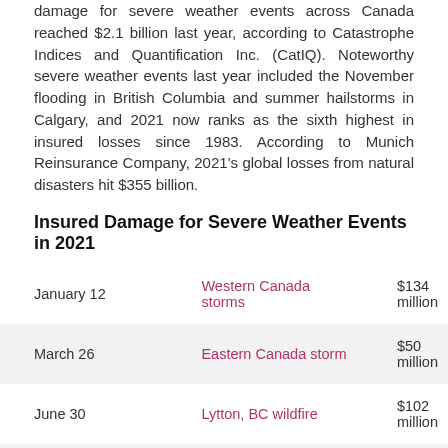damage for severe weather events across Canada reached $2.1 billion last year, according to Catastrophe Indices and Quantification Inc. (CatIQ). Noteworthy severe weather events last year included the November flooding in British Columbia and summer hailstorms in Calgary, and 2021 now ranks as the sixth highest in insured losses since 1983. According to Munich Reinsurance Company, 2021's global losses from natural disasters hit $355 billion.
Insured Damage for Severe Weather Events in 2021
| Date | Event | Amount |
| --- | --- | --- |
| January 12 | Western Canada storms | $134 million |
| March 26 | Eastern Canada storm | $50 million |
| June 30 | Lytton, BC wildfire | $102 million |
| July 2 | Calgary, AB hailstorm | $500 million |